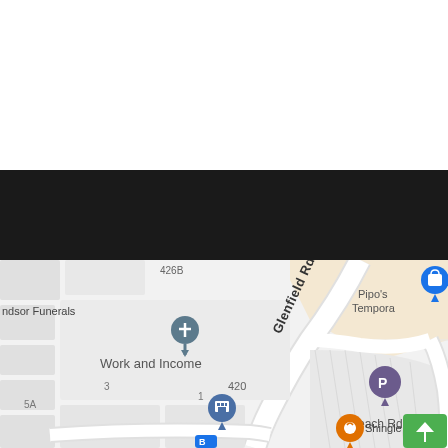[Figure (map): Google Maps screenshot showing Glenfield Rd area with landmarks including Windsor Funerals, Work and Income, Pipo's Tempora, Shingle Inn, parking marker, bus stop, and street addresses 426B, 420, 383, 3, 1, 5A. Roads: Glenfield Rd, Peach Rd. Lower portion of a mobile screen with black app bar above the map.]